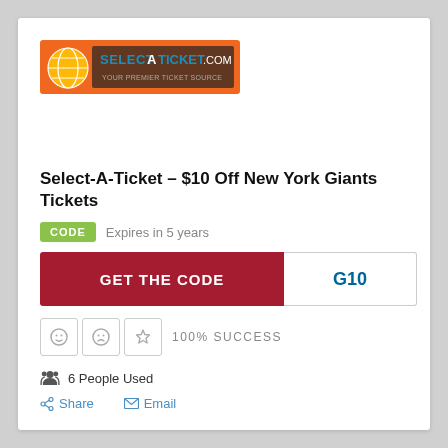[Figure (logo): SelectATicket.com logo — orange background with globe icon and white text]
Select-A-Ticket – $10 Off New York Giants Tickets
CODE   Expires in 5 years
GET THE CODE   G10
100% SUCCESS
6 People Used
Share   Email